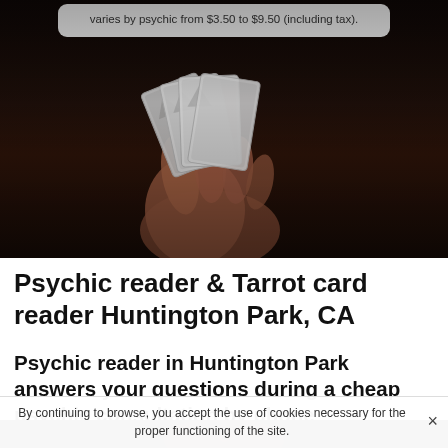[Figure (photo): Dark background photo of a hand holding playing/tarot cards. At the top, a light gray rounded tooltip box shows pricing text.]
varies by psychic from $3.50 to $9.50 (including tax).
Psychic reader & Tarrot card reader Huntington Park, CA
Psychic reader in Huntington Park answers your questions during a cheap psychic consultation by phone
[Figure (photo): Partial photo of a person, dark tones, showing top of head/face area.]
By continuing to browse, you accept the use of cookies necessary for the proper functioning of the site.